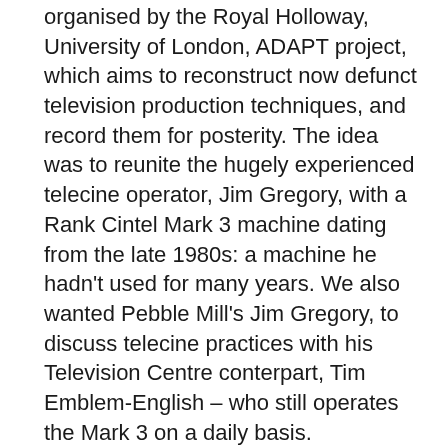organised by the Royal Holloway, University of London, ADAPT project, which aims to reconstruct now defunct television production techniques, and record them for posterity. The idea was to reunite the hugely experienced telecine operator, Jim Gregory, with a Rank Cintel Mark 3 machine dating from the late 1980s: a machine he hadn't used for many years. We also wanted Pebble Mill's Jim Gregory, to discuss telecine practices with his Television Centre conterpart, Tim Emblem-English – who still operates the Mark 3 on a daily basis.
We had hoped to find a working example of the Rank Cintel Mark 2, but unfortunately one does not seem to still exist. The Mark 3 is at the BBC Post Production centre in Ruislip, and is involved in film restoration work for the BBC and external clients. It is linked up to a control desk, monitors and a bank of different format recorders.